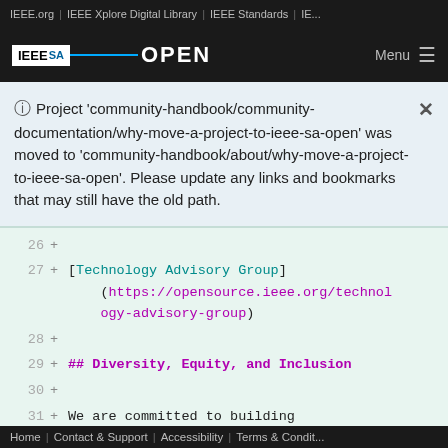IEEE.org | IEEE Xplore Digital Library | IEEE Standards | IE...
[Figure (logo): IEEE SA OPEN logo with navigation menu button]
Project 'community-handbook/community-documentation/why-move-a-project-to-ieee-sa-open' was moved to 'community-handbook/about/why-move-a-project-to-ieee-sa-open'. Please update any links and bookmarks that may still have the old path.
26  +
27  + [Technology Advisory Group](https://opensource.ieee.org/technology-advisory-group)
28  +
29  + ## Diversity, Equity, and Inclusion
30  +
31  + We are committed to building diversity, equity and inclusion regarding race, gender, nationality, and abilities.
32  +
Home | Contact & Support | Accessibility | Terms & Condit...